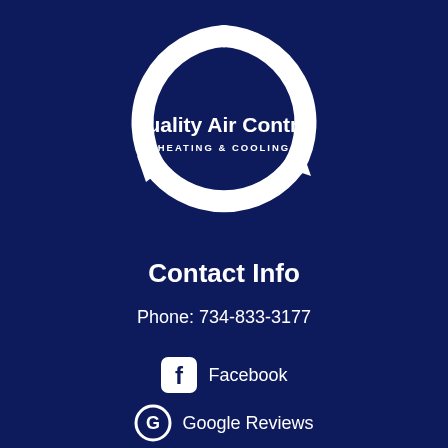[Figure (logo): Quality Air Control Heating & Cooling circular arrow logo with company name]
Contact Info
Phone: 734-833-3177
[Figure (logo): Facebook icon (f logo in rounded square) with label 'Facebook']
[Figure (logo): Google icon (G logo circle) with label 'Google Reviews']